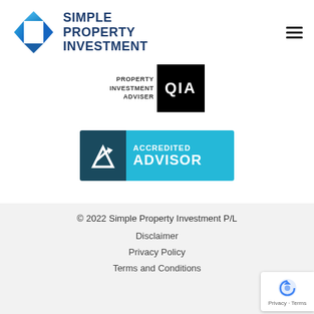[Figure (logo): Simple Property Investment logo with geometric house icon in blue gradient and bold dark blue text reading SIMPLE PROPERTY INVESTMENT]
[Figure (logo): Property Investment Adviser QIA black box badge with white letters QIA]
[Figure (logo): Accredited Advisor badge with dark teal left panel showing arrow icon and light blue right panel with white text ACCREDITED ADVISOR]
© 2022 Simple Property Investment P/L
Disclaimer
Privacy Policy
Terms and Conditions